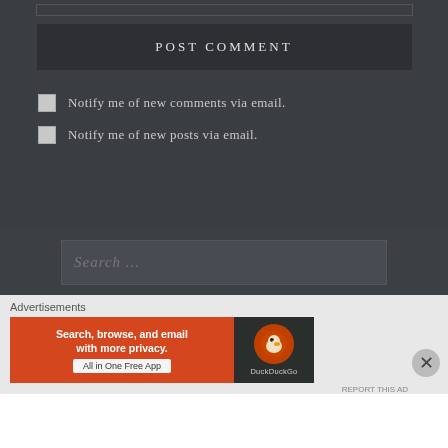[Figure (screenshot): Top input bar (comment text area top edge)]
POST COMMENT
Notify me of new comments via email.
Notify me of new posts via email.
Search ...
Advertisements
[Figure (screenshot): DuckDuckGo advertisement banner: 'Search, browse, and email with more privacy. All in One Free App' with DuckDuckGo logo on right.]
REPORT THIS AD